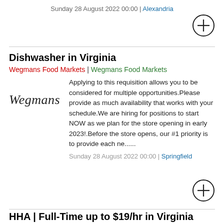Sunday 28 August 2022 00:00 | Alexandria
Dishwasher in Virginia
Wegmans Food Markets | Wegmans Food Markets
[Figure (logo): Wegmans script logo]
Applying to this requisition allows you to be considered for multiple opportunities.Please provide as much availability that works with your schedule.We are hiring for positions to start NOW as we plan for the store opening in early 2023!.Before the store opens, our #1 priority is to provide each ne......
Sunday 28 August 2022 00:00 | Springfield
HHA | Full-Time up to $19/hr in Virginia